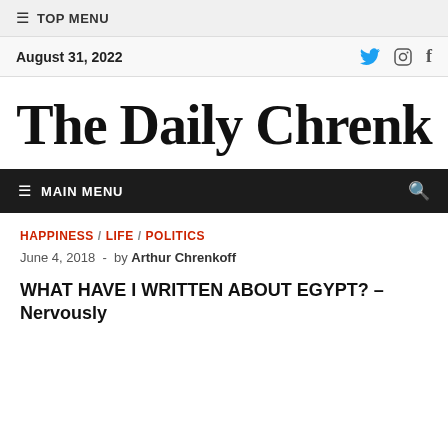≡ TOP MENU
August 31, 2022
The Daily Chrenk
≡ MAIN MENU
HAPPINESS / LIFE / POLITICS
June 4, 2018  -  by Arthur Chrenkoff
WHAT HAVE I WRITTEN ABOUT EGYPT? – Nervously